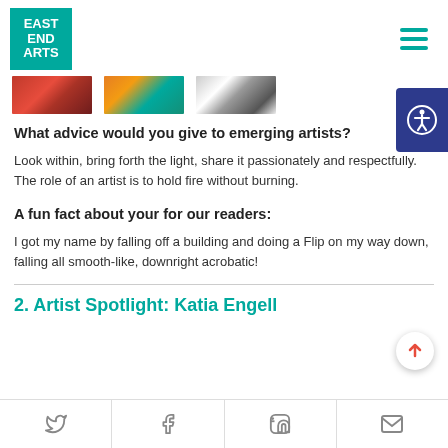EAST END ARTS
[Figure (photo): Three partial images: red/dark abstract, orange/teal abstract, black and white graphic]
What advice would you give to emerging artists?
Look within, bring forth the light, share it passionately and respectfully. The role of an artist is to hold fire without burning.
A fun fact about your for our readers:
I got my name by falling off a building and doing a Flip on my way down, falling all smooth-like, downright acrobatic!
2. Artist Spotlight: Katia Engell
Twitter | Facebook | LinkedIn | Email